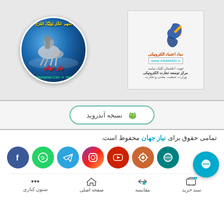[Figure (logo): Nazejahar.Com website logo - circular globe with horse rider and Arabic/Persian text]
[Figure (logo): eNAMAD electronic trust badge with www.eNAMAD.ir URL and Persian text]
[Figure (infographic): Android version download button with Android robot icon]
تمامی حقوق برای نیاز جهان محفوظ است.
[Figure (infographic): Social media icons row: Facebook, WhatsApp, Telegram, Instagram, YouTube, and two others]
[Figure (infographic): Chat bubble widget bottom right]
سبد خرید | مقایسه | صفحه اصلی | ستون کناری